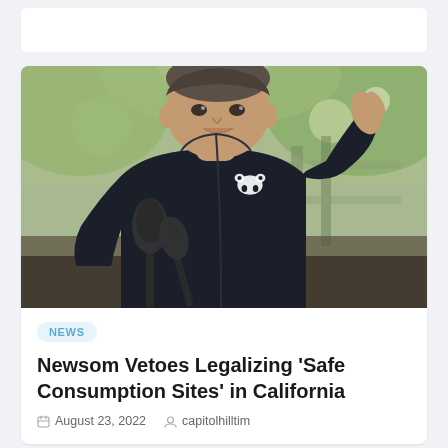[Figure (photo): Photo of a man in a dark zip-up jacket with a bear logo, gesturing with one hand (thumb up), speaking at a microphone outdoors with blurred green foliage background]
NEWS
Newsom Vetoes Legalizing 'Safe Consumption Sites' in California
August 23, 2022   capitolhilltim